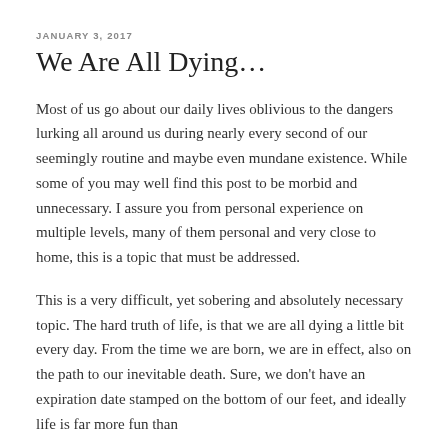JANUARY 3, 2017
We Are All Dying…
Most of us go about our daily lives oblivious to the dangers lurking all around us during nearly every second of our seemingly routine and maybe even mundane existence. While some of you may well find this post to be morbid and unnecessary. I assure you from personal experience on multiple levels, many of them personal and very close to home, this is a topic that must be addressed.
This is a very difficult, yet sobering and absolutely necessary topic. The hard truth of life, is that we are all dying a little bit every day. From the time we are born, we are in effect, also on the path to our inevitable death. Sure, we don't have an expiration date stamped on the bottom of our feet, and ideally life is far more fun than…